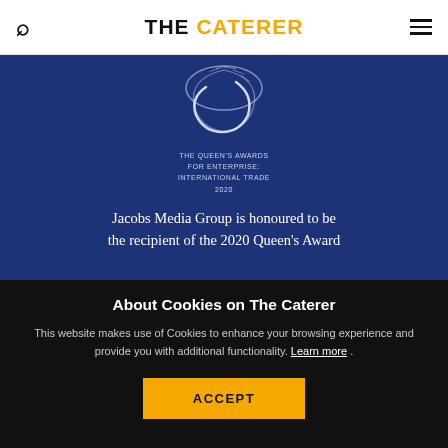THE CATERER
[Figure (logo): The Queen's Awards for Enterprise: International Trade 2020 badge/logo on blue background with decorative emblem]
Jacobs Media Group is honoured to be the recipient of the 2020 Queen's Award
About Cookies on The Caterer
This website makes use of Cookies to enhance your browsing experience and provide you with additional functionality. Learn more .
ACCEPT